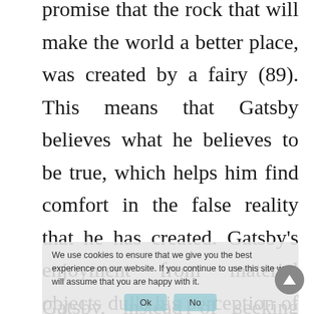promise that the rock that will make the world a better place, was created by a fairy (89). This means that Gatsby believes what he believes to be true, which helps him find comfort in the false reality that he has created. Gatsby's enjoyment from material objects dulls his perception of true happiness. Like many Americans of upper class, Gatsby doesn't realize that the American dream does not only revolve around financial success but also the joy of living. This perk is something that Gatsby has never achieved.
Gatsby, instead of seeking happiness, he